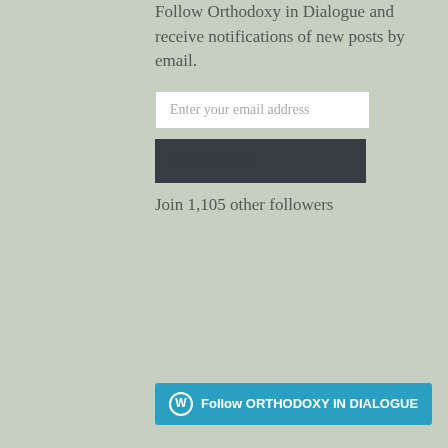Follow Orthodoxy in Dialogue and receive notifications of new posts by email.
[Figure (other): Email subscription form with input field showing 'Enter your email address' placeholder and a dark grey Subscribe button]
Join 1,105 other followers
[Figure (other): WordPress Follow button with WordPress logo and text 'Follow ORTHODOXY IN DIALOGUE' on a blue background]
MOST RECENT ARTICLES
TIME TO BOYCOTT UNCUT